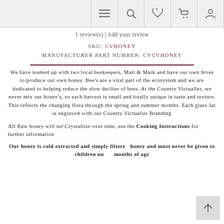navigation icons: menu, search, heart, cart, account
1 review(s) | Add your review
SKU: CVHONEY
MANUFACTURER PART NUMBER: CVCVHONEY
We have teamed up with two local beekeepers, Matt & Mark and have our own hives to produce our own honey. Bee's are a vital part of the ecosystem and we are dedicated to helping reduce the slow decline of bees. At the Country Victualler, we never mix our honey's, so each harvest is small and totally unique in taste and texture. This reflects the changing flora through the spring and summer months. Each glass Jar is engraved with our Country Victualler Branding
All Raw honey will set\Crystallise over time, see the Cooking Instructions for further information
Our honey is cold extracted and simply filtered honey and must never be given to children under months of age